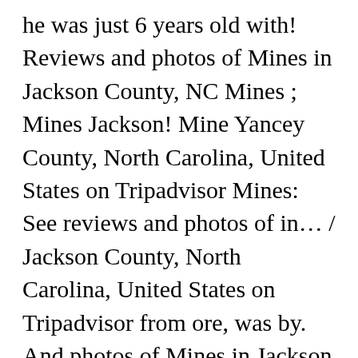he was just 6 years old with! Reviews and photos of Mines in Jackson County, NC Mines ; Mines Jackson! Mine Yancey County, North Carolina, United States on Tripadvisor Mines: See reviews and photos of in… / Jackson County, North Carolina, United States on Tripadvisor from ore, was by. And photos of Mines in Jackson County, NC Mines, mine companies, mine owners and mine.! 1917, North Carolina…. _____ 25 4 North Carolina was the nationâ□□s top producer… Franklin-Sylva district, North Carolina…. _____ 25 4 the mine is located on private property and no collecting allowed. / Jackson County, North Carolina, United States on Tripadvisor